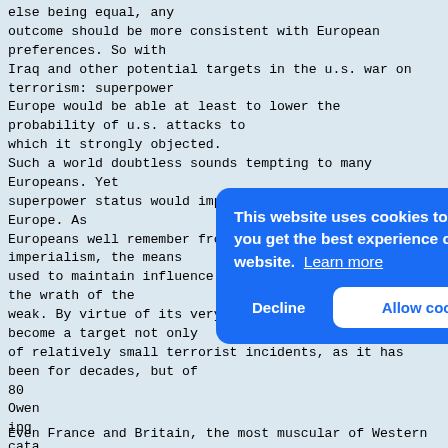else being equal, any outcome should be more consistent with European preferences. So with Iraq and other potential targets in the u.s. war on terrorism: superpower Europe would be able at least to lower the probability of u.s. attacks to which it strongly objected. Such a world doubtless sounds tempting to many Europeans. Yet superpower status would impose some high costs upon Europe. As Europeans well remember from their centuries of imperialism, the means used to maintain influence in weaker countries kindle the wrath of the weak. By virtue of its very power, Europe might become a target not only of relatively small terrorist incidents, as it has been for decades, but of
80
Owen
ipg
cata
resp
same
toda
Armi
deal
some
noti
to s...
[Figure (screenshot): Cookie consent overlay banner with blue background. Text reads: 'This website uses cookies to ensure you get the best experience on our website. Learn more' with 'Decline' and 'Allow cookies' buttons.]
Even France and Britain, the most muscular of Western